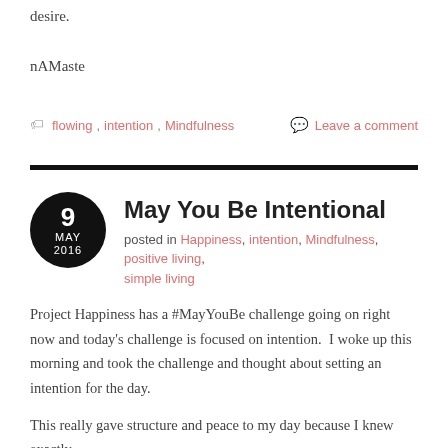desire.
nAMaste
flowing, intention, Mindfulness    Leave a comment
May You Be Intentional
posted in Happiness, intention, Mindfulness, positive living, simple living
Project Happiness has a #MayYouBe challenge going on right now and today's challenge is focused on intention.  I woke up this morning and took the challenge and thought about setting an intention for the day.
This really gave structure and peace to my day because I knew exactly